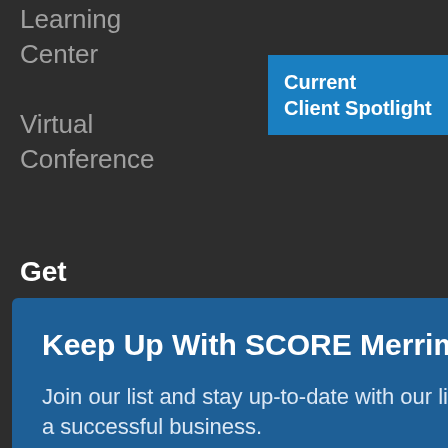Learning
Center
Virtual
Conference
Current
Client Spotlight
Get
Keep Up With SCORE Merrimack Valley NH
Join our list and stay up-to-date with our live webinars designed to help you start and grow a successful business.
email address
SUBMIT
Are
Mission
& Values